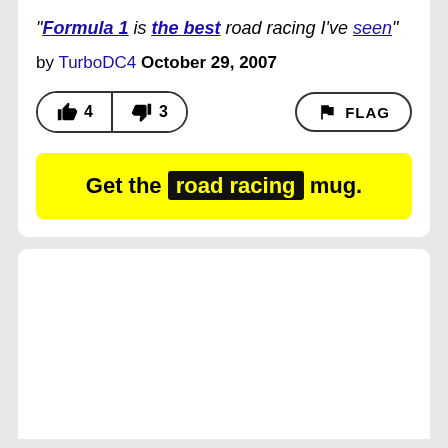"Formula 1 is the best road racing I've seen"
by TurboDC4 October 29, 2007
[Figure (other): Thumbs up button with count 4, thumbs down button with count 3, and FLAG button]
Get the road racing mug.
[Figure (other): Empty white card area below]